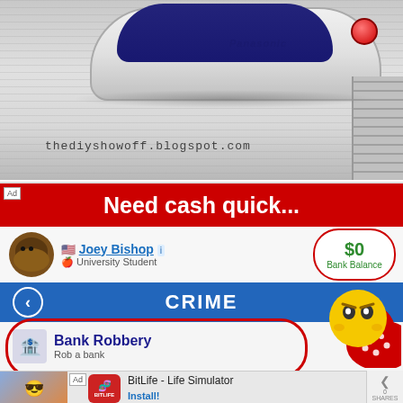[Figure (photo): Close-up photo of a Panasonic clothes iron on a textured white cloth/fabric, with watermark text 'thediyshowoff.blogspot.com']
[Figure (screenshot): Advertisement screenshot for BitLife game showing 'Need cash quick...' header in red, profile of Joey Bishop (University Student) with $0 Bank Balance circled in red, a CRIME menu screen showing 'Bank Robbery - Rob a bank' circled in red, and a yellow pac-man-like mascot character. Bottom bar shows BitLife - Life Simulator app install ad.]